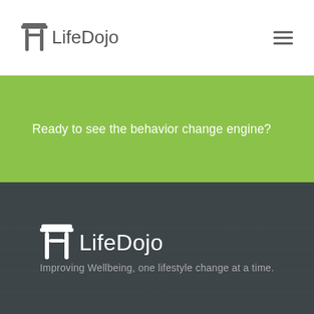LifeDojo
Ready to see the behavior change engine?
[Figure (logo): LifeDojo logo with torii gate icon and text 'LifeDojo' on dark background with tagline]
Improving Wellbeing, one lifestyle change at a time.